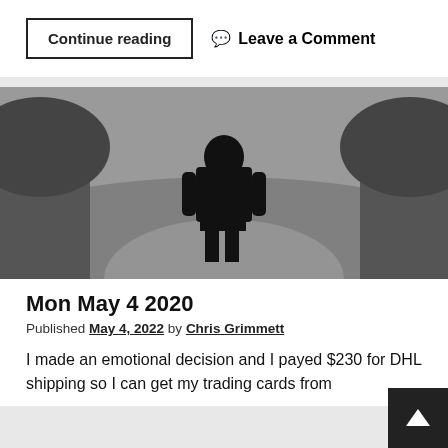Continue reading
Leave a Comment
[Figure (photo): Black and white silhouette of a child standing on a road, shot from behind]
Mon May 4 2020
Published May 4, 2022 by Chris Grimmett
I made an emotional decision and I payed $230 for DHL shipping so I can get my trading cards from